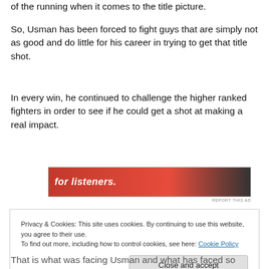of the running when it comes to the title picture.
So, Usman has been forced to fight guys that are simply not as good and do little for his career in trying to get that title shot.
In every win, he continued to challenge the higher ranked fighters in order to see if he could get a shot at making a real impact.
[Figure (other): Red advertisement banner with white text 'for listeners.' and a remote control image on the right]
REPORT THIS AD
Privacy & Cookies: This site uses cookies. By continuing to use this website, you agree to their use.
To find out more, including how to control cookies, see here: Cookie Policy
Close and accept
That is what was facing Usman and what has faced so